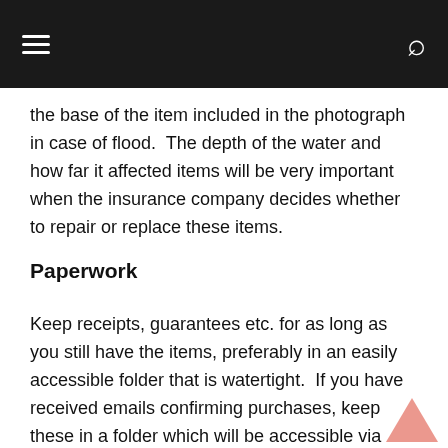Navigation bar with hamburger menu and search icon
the base of the item included in the photograph in case of flood.  The depth of the water and how far it affected items will be very important when the insurance company decides whether to repair or replace these items.
Paperwork
Keep receipts, guarantees etc. for as long as you still have the items, preferably in an easily accessible folder that is watertight.  If you have received emails confirming purchases, keep these in a folder which will be accessible via internet access.  It may be an idea to take photographs or scan your paper receipts, just in case something happens to your folder, at least then you know you have them